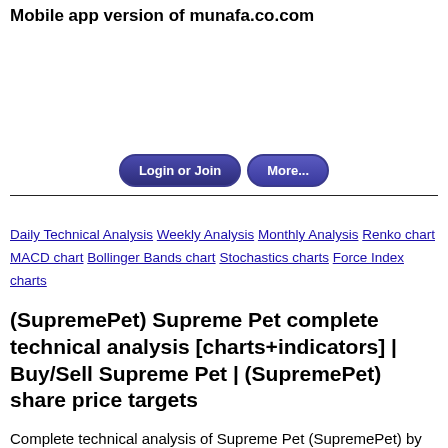Mobile app version of munafa.co.com
[Figure (other): Advertisement area (blank white space)]
Login or Join  More...
Daily Technical Analysis  Weekly Analysis  Monthly Analysis  Renko chart  MACD chart  Bollinger Bands chart  Stochastics charts  Force Index charts
(SupremePet) Supreme Pet complete technical analysis [charts+indicators] | Buy/Sell Supreme Pet | (SupremePet) share price targets
Complete technical analysis of Supreme Pet (SupremePet) by charts plus indicators, forecast predictions and share price targets for Supreme Pet (SupremePet)
Showing technical analysis as on 2022-02-21 View latest...